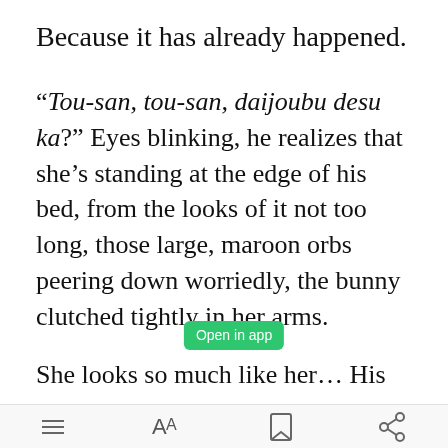Because it has already happened.
“Tou-san, tou-san, daijoubu desu ka?” Eyes blinking, he realizes that she’s standing at the edge of his bed, from the looks of it not too long, those large, maroon orbs peering down worriedly, the bunny clutched tightly in her arms.
She looks so much like her… His
Open in app | menu | font | bookmark | share